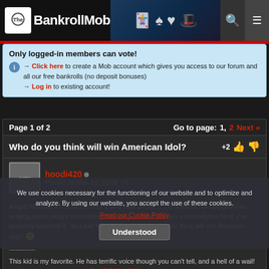The BankrollMob
Only logged-in members can vote! → Click here to create a Mob account which gives you access to our forum and all our free bankrolls (no deposit bonuses) → Log in to existing account!
Page 1 of 2   Go to page: 1, 2  Next »
Who do you think will win American Idol?
hoodi420  Posted 26-Mar-11, 10:06  #1
Alright Mobster's I must confess a dirty little secret.....I'm addicted to competitions singing,talent,weight loss,eating,surviving...If there's been a competition for it, I've probably watched it. So I ask YOU Mobsters! Who do you think will win American Idol? 🙂

------------
This kid is my favorite. He has terrific voice though you can't tell, and a hell of a wail!
http://www.youtube.com/watch?v=8R8NCV_OM6s
Edited by hoodi420 (26 March 2011 @ 10:12 GMT)
We use cookies necessary for the functioning of our website and to optimize and analyze. By using our website, you accept the use of these cookies. Read our Cookie Policy Understood